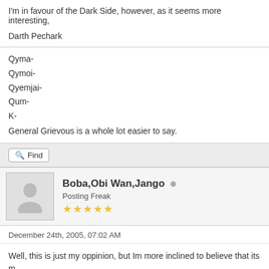I'm in favour of the Dark Side, however, as it seems more interesting,
Darth Pechark
Qyma-
Qymoi-
Qyemjai-
Qum-
K-
General Grievous is a whole lot easier to say.
Find
Boba,Obi Wan,Jango
Posting Freak
December 24th, 2005, 07:02 AM
Well, this is just my oppinion, but Im more inclined to believe that its more a matter of the person using it . For example, a person trained in the ways of the darkside of the force the dark side is stronger, but the person themself is strong in the for